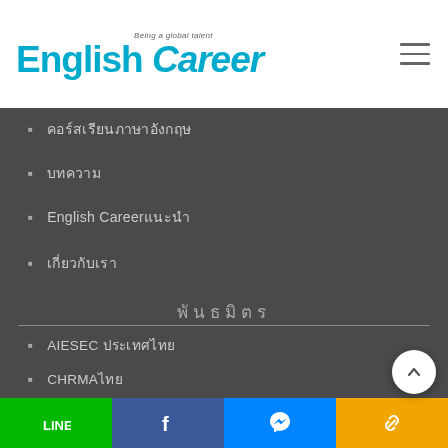English Career — Being a global talent
คอร์สเรียนภาษาอังกฤษ
บทความ
English Career แนะนำ
เกี่ยวกับเรา
พันธมิตร
AIESEC ประเทศไทย
CHRMAไทย
SHRM